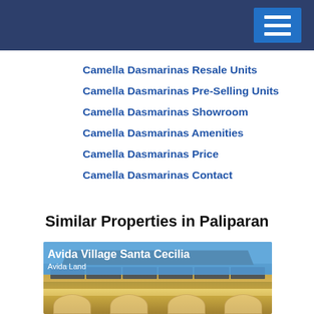Camella Dasmarinas Resale Units
Camella Dasmarinas Pre-Selling Units
Camella Dasmarinas Showroom
Camella Dasmarinas Amenities
Camella Dasmarinas Price
Camella Dasmarinas Contact
Similar Properties in Paliparan
[Figure (photo): Property card showing Avida Village Santa Cecilia by Avida Land, with a photo of a residential building featuring Mediterranean-style architecture with arched ground floor, dark roof, and warm-colored facade against a blue sky.]